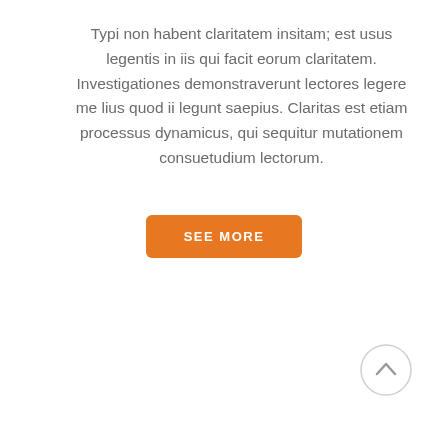Typi non habent claritatem insitam; est usus legentis in iis qui facit eorum claritatem. Investigationes demonstraverunt lectores legere me lius quod ii legunt saepius. Claritas est etiam processus dynamicus, qui sequitur mutationem consuetudium lectorum.
[Figure (other): Orange rounded rectangle button with white uppercase text 'SEE MORE']
[Figure (other): Circular scroll-to-top button with light gray border and upward arrow icon]